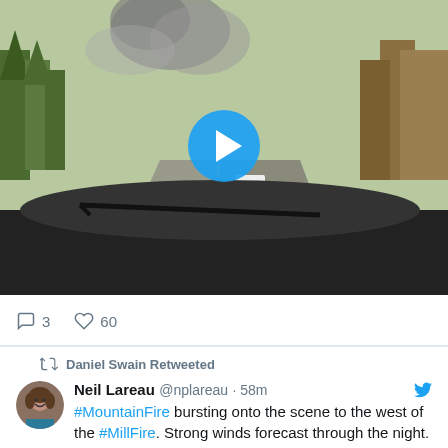[Figure (screenshot): Video thumbnail showing a road scene with smoke from a wildfire, cars on the road, trees on hillside. A blue play button circle is centered on the image.]
3   60
Daniel Swain Retweeted
[Figure (photo): Profile photo of Neil Lareau, a man with curly hair smiling]
Neil Lareau @nplareau · 58m
#MountainFire bursting onto the scene to the west of the #MillFire. Strong winds forecast through the night.